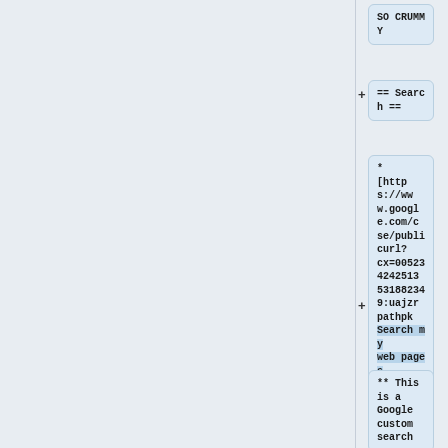SO CRUMMY
== Search ==
* [https://www.google.com/cse/publicurl?cx=005234242513531882349:uajzrpathpk Search my web pages and publications].
** This is a Google custom search